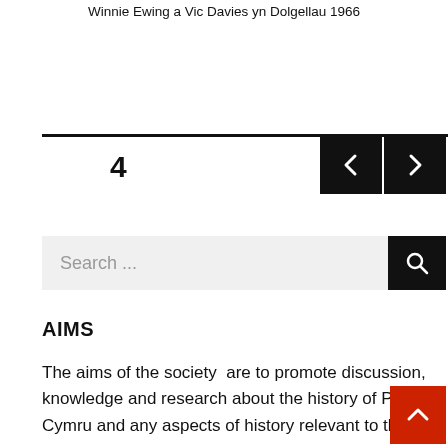Winnie Ewing a Vic Davies yn Dolgellau 1966
4
[Figure (other): Navigation pagination bar with back and forward arrow buttons on black background]
[Figure (other): Search bar with search input field and black search button with magnifying glass icon]
AIMS
The aims of the society  are to promote discussion, knowledge and research about the history of Pla Cymru and any aspects of history relevant to the